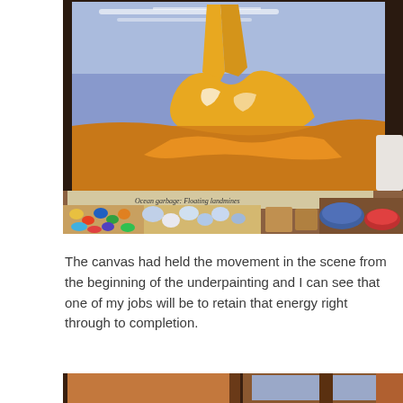[Figure (photo): A canvas painting in progress on an artist's worktable showing a figure with golden/yellow tones against a blue sky background, with paints, brushes and paint palettes visible on the table below. A newspaper with text 'Ocean garbage: Floating landmines' is visible underneath.]
The canvas had held the movement in the scene from the beginning of the underpainting and I can see that one of my jobs will be to retain that energy right through to completion.
[Figure (photo): Partial view of another canvas or artwork on an easel with warm tones, partially visible at the bottom of the page.]